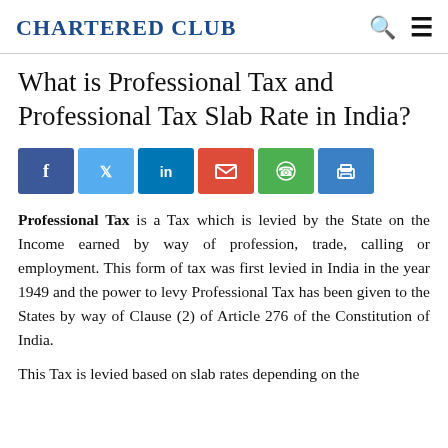Chartered Club
What is Professional Tax and Professional Tax Slab Rate in India?
[Figure (other): Social share buttons: Facebook, Twitter, LinkedIn, Email, WhatsApp, Print]
Professional Tax is a Tax which is levied by the State on the Income earned by way of profession, trade, calling or employment. This form of tax was first levied in India in the year 1949 and the power to levy Professional Tax has been given to the States by way of Clause (2) of Article 276 of the Constitution of India.
This Tax is levied based on slab rates depending on the